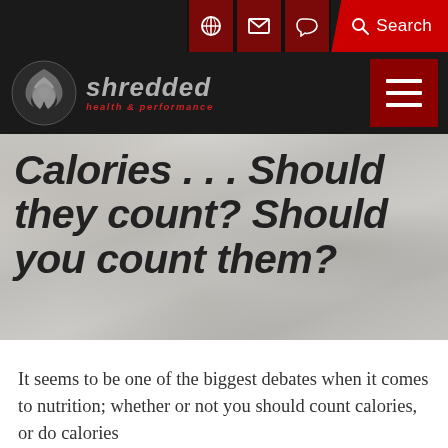Search
[Figure (logo): Shredded Health & Performance logo with stylized icon and text]
Calories . . . Should they count? Should you count them?
It seems to be one of the biggest debates when it comes to nutrition; whether or not you should count calories, or do calories